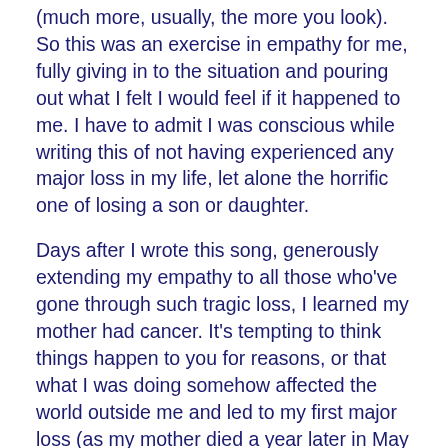(much more, usually, the more you look). So this was an exercise in empathy for me, fully giving in to the situation and pouring out what I felt I would feel if it happened to me. I have to admit I was conscious while writing this of not having experienced any major loss in my life, let alone the horrific one of losing a son or daughter.
Days after I wrote this song, generously extending my empathy to all those who've gone through such tragic loss, I learned my mother had cancer. It's tempting to think things happen to you for reasons, or that what I was doing somehow affected the world outside me and led to my first major loss (as my mother died a year later in May 2015, followed by dad in June 2016), but I resisted those thoughts. Despite the awful coincidence, I never cursed my imagination for stirring up the darkness.
A quick note on the title phrase: I have no idea what it means. It popped out as these words that made that